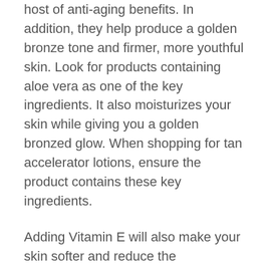host of anti-aging benefits. In addition, they help produce a golden bronze tone and firmer, more youthful skin. Look for products containing aloe vera as one of the key ingredients. It also moisturizes your skin while giving you a golden bronzed glow. When shopping for tan accelerator lotions, ensure the product contains these key ingredients.
Adding Vitamin E will also make your skin softer and reduce the appearance of wrinkles. Other ingredients in Aloe Vera tan accelerators include Monoi de Tahiti oil and Grape Seed Oil. It can give your skin a golden tan without the sun's damaging effects. All of the ingredients make Aloe Vera a natural option for tanning. In